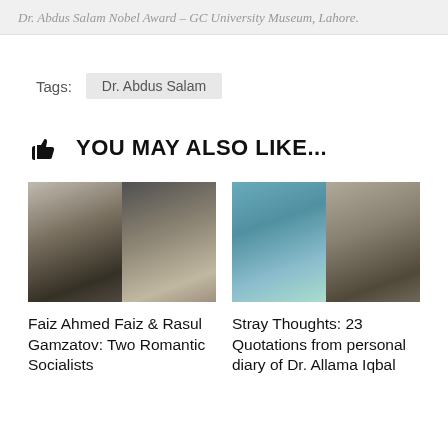Dr. Abdus Salam Nobel Award – GC University Museum, Lahore.
Tags: Dr. Abdus Salam
YOU MAY ALSO LIKE...
[Figure (photo): Two black and white portraits side by side: Faiz Ahmed Faiz and Rasul Gamzatov]
Faiz Ahmed Faiz & Rasul Gamzatov: Two Romantic Socialists
[Figure (photo): Two portraits side by side: a painting of an old bearded man (Socrates-like) and a black and white photo of Dr. Allama Iqbal]
Stray Thoughts: 23 Quotations from personal diary of Dr. Allama Iqbal